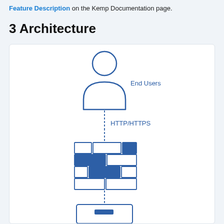Feature Description on the Kemp Documentation page.
3 Architecture
[Figure (network-graph): Architecture diagram showing End Users at the top connected via HTTP/HTTPS to a load balancer (represented as a brick/wall pattern of blue and white rectangles), which connects downward to a server/device at the bottom. The person icon represents End Users, labeled 'End Users' to the right. Below the person icon is a vertical line with 'HTTP/HTTPS' label, leading to the brick-pattern load balancer component, and then another vertical line leading to a partially visible rectangular device at the bottom.]